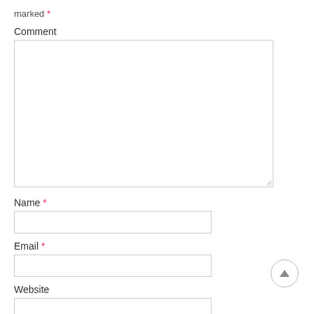marked *
Comment
[Figure (screenshot): Empty textarea form field for comment input]
Name *
[Figure (screenshot): Empty text input field for name]
Email *
[Figure (screenshot): Empty text input field for email]
Website
[Figure (screenshot): Empty text input field for website]
Save my name, email, and website in this browser for the next time I comment.
[Figure (screenshot): Pink/red submit button (partially visible at bottom)]